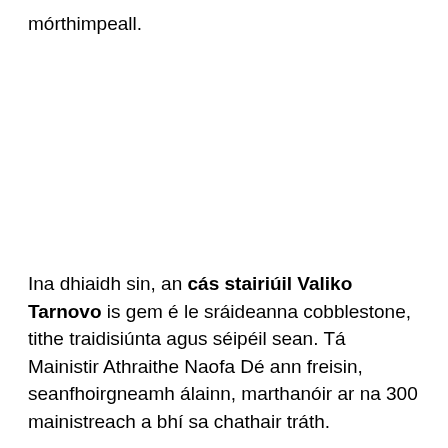mórthimpeall.
Ina dhiaidh sin, an cás stairiúil Valiko Tarnovo is gem é le sráideanna cobblestone, tithe traidisiúnta agus séipéil sean. Tá Mainistir Athraithe Naofa Dé ann freisin, seanfhoirgneamh álainn, marthanóir ar na 300 mainistreach a bhí sa chathair tráth.